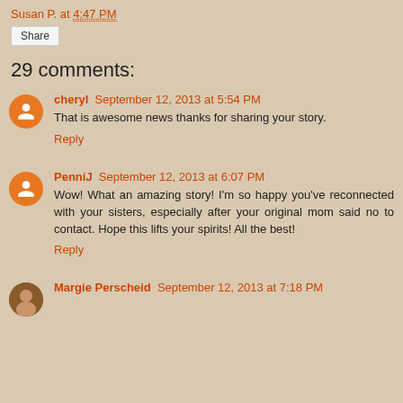Susan P. at 4:47 PM
Share
29 comments:
cheryl September 12, 2013 at 5:54 PM
That is awesome news thanks for sharing your story.
Reply
PenniJ September 12, 2013 at 6:07 PM
Wow! What an amazing story! I'm so happy you've reconnected with your sisters, especially after your original mom said no to contact. Hope this lifts your spirits! All the best!
Reply
Margie Perscheid September 12, 2013 at 7:18 PM